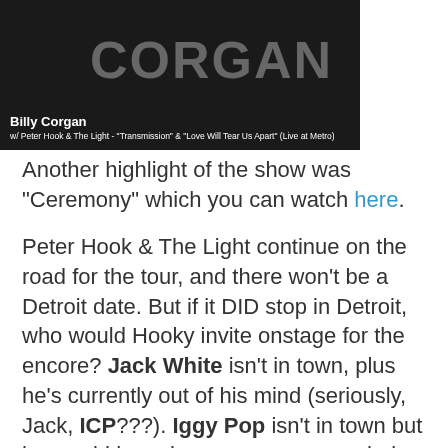[Figure (photo): Image showing 'Billy Corgan' text with subtitle 'w/ Peter Hook & The Light - "Transmission" & "Love Will Tear Us Apart" (Live at Metro)' on a dark background]
Another highlight of the show was "Ceremony" which you can watch here.
Peter Hook & The Light continue on the road for the tour, and there won't be a Detroit date. But if it DID stop in Detroit, who would Hooky invite onstage for the encore? Jack White isn't in town, plus he's currently out of his mind (seriously, Jack, ICP???). Iggy Pop isn't in town but he would have been an awesome choice. Other huge Detroit names like Kid Rock, Eminem, or Aretha would be a trainwreck (though I'd pay huge money to see Aretha attempt it). Maybe Windsor's Daniel